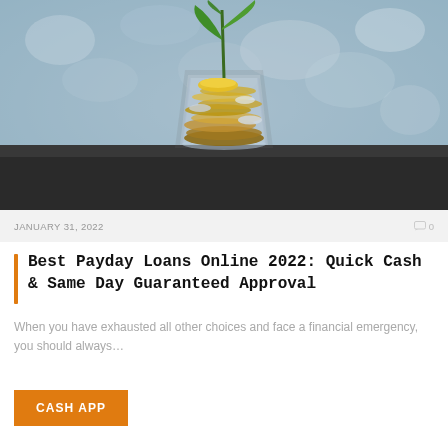[Figure (photo): A glass cup filled with coins with a small green plant sprouting from the top, set on a dark surface with a blurred stone/mosaic background. Represents financial growth.]
JANUARY 31, 2022
0
Best Payday Loans Online 2022: Quick Cash & Same Day Guaranteed Approval
When you have exhausted all other choices and face a financial emergency, you should always...
CASH APP